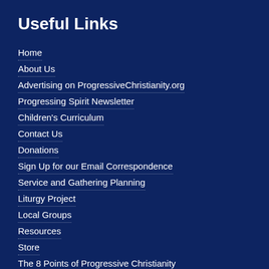Useful Links
Home
About Us
Advertising on ProgressiveChristianity.org
Progressing Spirit Newsletter
Children's Curriculum
Contact Us
Donations
Sign Up for our Email Correspondence
Service and Gathering Planning
Liturgy Project
Local Groups
Resources
Store
The 8 Points of Progressive Christianity
What is Progressive Christianity?